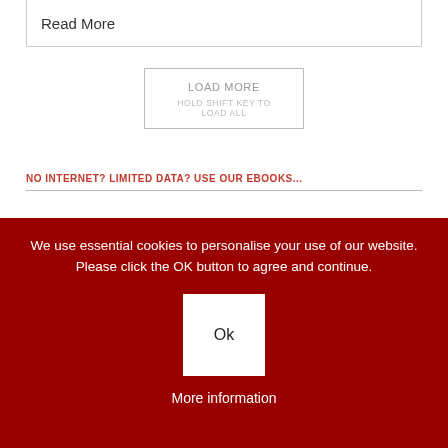Read More
LOAD MORE
HOLD SHIFT KEY TO LOAD ALL
NO INTERNET? LIMITED DATA? USE OUR EBOOKS...
[Figure (photo): A dark photo of shelves with books or bottles in dim lighting with a red accent on the right.]
We use essential cookies to personalise your use of our website. Please click the OK button to agree and continue.
Ok
More information